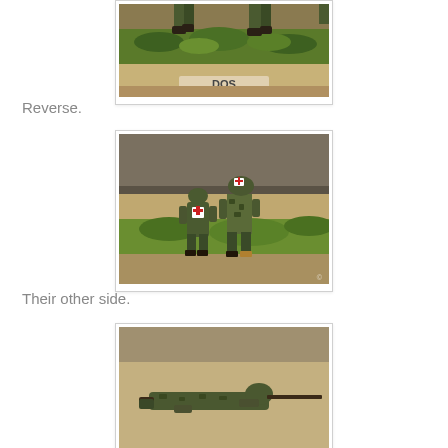[Figure (photo): Top portion of miniature military figures on a diorama base with grass, viewed from above/reverse angle. A label reading 'DOS' is visible on the base.]
Reverse.
[Figure (photo): Two painted military miniature figures showing their other side, one with a red cross on their back/helmet, standing on a grass diorama base with a road in the background.]
Their other side.
[Figure (photo): Partial view of a painted military miniature figure lying prone with a rifle, on a diorama base.]